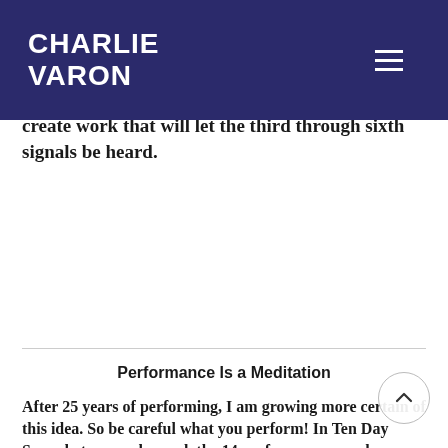Charlie Varon
bottom of the list. More and more I see that the work on the levels of craft and energy serves to create work that will let the third through sixth signals be heard.
Performance Is a Meditation
After 25 years of performing, I am growing more certain of this idea. So be careful what you perform! In Ten Day Soup, between rehearsal, the 14 performances, and running of lines between shows, I said the words in the show probably fifty times.
The repetition itself is powerful, causing the ideas and feelings to rumble around in one's consciousness. But saying the words over and over in front of an audience magnifies their impact. This movement from private to